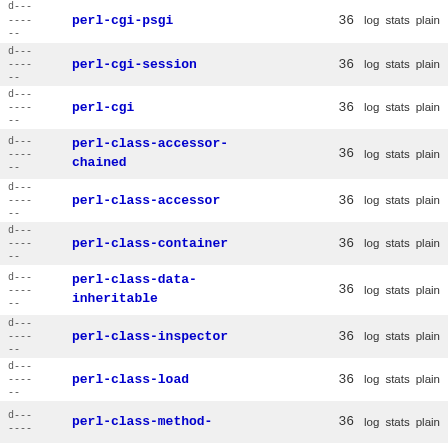| permissions | name | count | actions |
| --- | --- | --- | --- |
| d---
----
-- | perl-cgi-psgi | 36 | log stats plain |
| d---
----
-- | perl-cgi-session | 36 | log stats plain |
| d---
----
-- | perl-cgi | 36 | log stats plain |
| d---
----
-- | perl-class-accessor-chained | 36 | log stats plain |
| d---
----
-- | perl-class-accessor | 36 | log stats plain |
| d---
----
-- | perl-class-container | 36 | log stats plain |
| d---
----
-- | perl-class-data-inheritable | 36 | log stats plain |
| d---
----
-- | perl-class-inspector | 36 | log stats plain |
| d---
----
-- | perl-class-load | 36 | log stats plain |
| d---
----
-- | perl-class-method- | 36 | log stats plain |